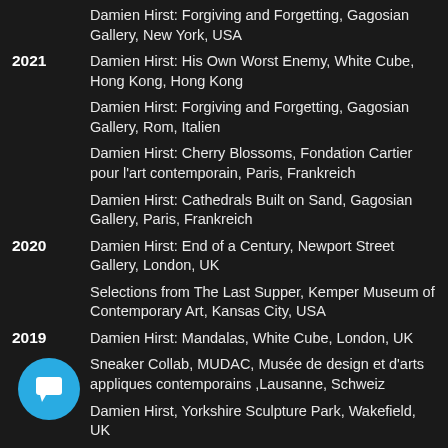Damien Hirst: Forgiving and Forgetting, Gagosian Gallery, New York, USA
2021  Damien Hirst: His Own Worst Enemy, White Cube, Hong Kong, Hong Kong
Damien Hirst: Forgiving and Forgetting, Gagosian Gallery, Rom, Italien
Damien Hirst: Cherry Blossoms, Fondation Cartier pour l'art contemporain, Paris, Frankreich
Damien Hirst: Cathedrals Built on Sand, Gagosian Gallery, Paris, Frankreich
2020  Damien Hirst: End of a Century, Newport Street Gallery, London, UK
Selections from The Last Supper, Kemper Museum of Contemporary Art, Kansas City, USA
2019  Damien Hirst: Mandalas, White Cube, London, UK
Sneaker Collab, MUDAC, Musée de design et d'arts appliques contemporains ,Lausanne, Schweiz
Damien Hirst, Yorkshire Sculpture Park, Wakefield, UK